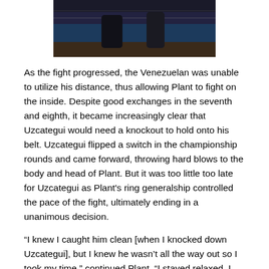[Figure (photo): Boxing match photo showing fighters in the ring, dark background with audience visible]
As the fight progressed, the Venezuelan was unable to utilize his distance, thus allowing Plant to fight on the inside. Despite good exchanges in the seventh and eighth, it became increasingly clear that Uzcategui would need a knockout to hold onto his belt. Uzcategui flipped a switch in the championship rounds and came forward, throwing hard blows to the body and head of Plant. But it was too little too late for Uzcategui as Plant's ring generalship controlled the pace of the fight, ultimately ending in a unanimous decision.
“I knew I caught him clean [when I knocked down Uzcategui], but I knew he wasn’t all the way out so I took my time,” continued Plant. “I stayed relaxed. I stuck to the game plan and got it done just like I